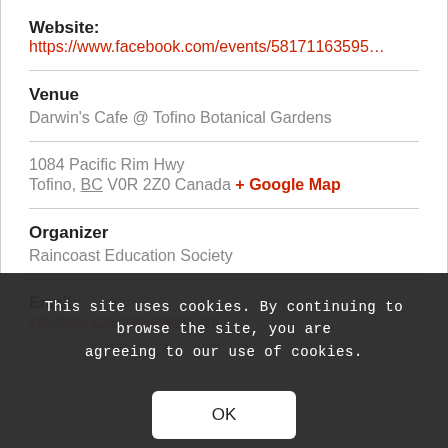Website:
https://www.facebook.com/events/58171163595…
Venue
Darwin's Cafe @ Tofino Botanical Gardens
1084 Pacific Rim Hwy
Tofino, BC V0R 2Z0 Canada + Google Map
Organizer
Raincoast Education Society
Email:
info@raincoasteducation.org
This site uses cookies. By continuing to browse the site, you are agreeing to our use of cookies.